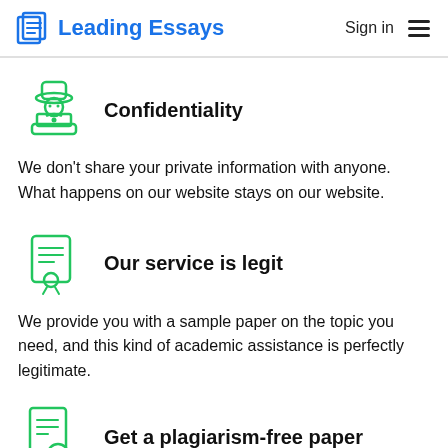Leading Essays | Sign in
[Figure (illustration): Green icon of a hacker/spy figure with hat sitting at a laptop]
Confidentiality
We don't share your private information with anyone. What happens on our website stays on our website.
[Figure (illustration): Green icon of a certificate/scroll document]
Our service is legit
We provide you with a sample paper on the topic you need, and this kind of academic assistance is perfectly legitimate.
[Figure (illustration): Green icon of a document with a magnifying glass showing plagiarism check]
Get a plagiarism-free paper